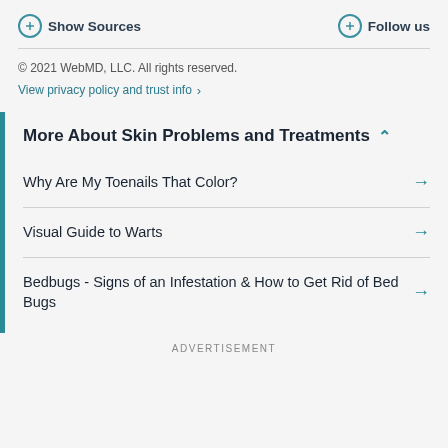Show Sources   Follow us
© 2021 WebMD, LLC. All rights reserved.
View privacy policy and trust info >
More About Skin Problems and Treatments
Why Are My Toenails That Color?
Visual Guide to Warts
Bedbugs - Signs of an Infestation & How to Get Rid of Bed Bugs
ADVERTISEMENT